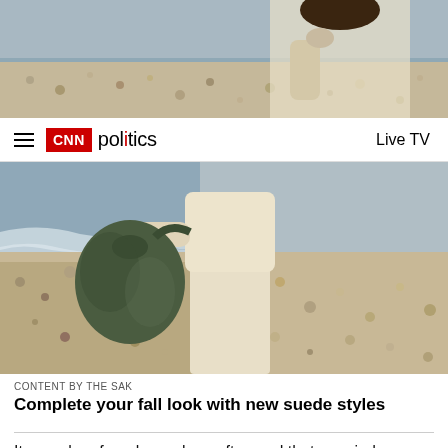[Figure (photo): Top portion of a woman in a cream sweater walking on a pebble beach, partially cropped at top]
CNN politics  Live TV
[Figure (photo): Woman in cream sweater carrying a large olive/army green canvas bag, walking on a pebble beach by the sea]
CONTENT BY THE SAK
Complete your fall look with new suede styles
It was clear from lawmakers afterward that no minds were changed by the briefing, with critics of